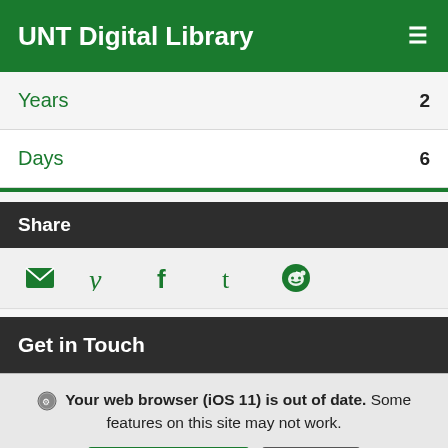UNT Digital Library
Years  2
Days  6
Share
[Figure (other): Social sharing icons: email, Twitter, Facebook, Tumblr, Reddit]
Get in Touch
Your web browser (iOS 11) is out of date. Some features on this site may not work. [Update browser] [Ignore]